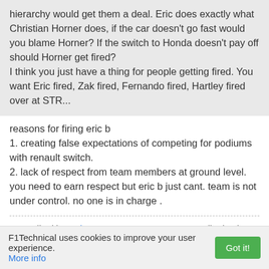hierarchy would get them a deal. Eric does exactly what Christian Horner does, if the car doesn't go fast would you blame Horner? If the switch to Honda doesn't pay off should Horner get fired?
I think you just have a thing for people getting fired. You want Eric fired, Zak fired, Fernando fired, Hartley fired over at STR...
reasons for firing eric b
1. creating false expectations of competing for podiums with renault switch.
2. lack of respect from team members at ground level. you need to earn respect but eric b just cant. team is not under control. no one is in charge .
Last edited by techman on 23 Jun 2018, 02:20, edited 1 time in total.
F1Technical uses cookies to improve your user experience. More info